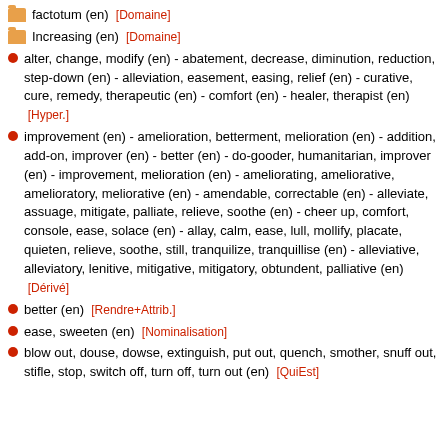factotum (en) [Domaine]
Increasing (en) [Domaine]
alter, change, modify (en) - abatement, decrease, diminution, reduction, step-down (en) - alleviation, easement, easing, relief (en) - curative, cure, remedy, therapeutic (en) - comfort (en) - healer, therapist (en) [Hyper.]
improvement (en) - amelioration, betterment, melioration (en) - addition, add-on, improver (en) - better (en) - do-gooder, humanitarian, improver (en) - improvement, melioration (en) - ameliorating, ameliorative, amelioratory, meliorative (en) - amendable, correctable (en) - alleviate, assuage, mitigate, palliate, relieve, soothe (en) - cheer up, comfort, console, ease, solace (en) - allay, calm, ease, lull, mollify, placate, quieten, relieve, soothe, still, tranquilize, tranquillise (en) - alleviative, alleviatory, lenitive, mitigative, mitigatory, obtundent, palliative (en) [Dérivé]
better (en) [Rendre+Attrib.]
ease, sweeten (en) [Nominalisation]
blow out, douse, dowse, extinguish, put out, quench, smother, snuff out, stifle, stop, switch off, turn off, turn out (en) [QuiEst]